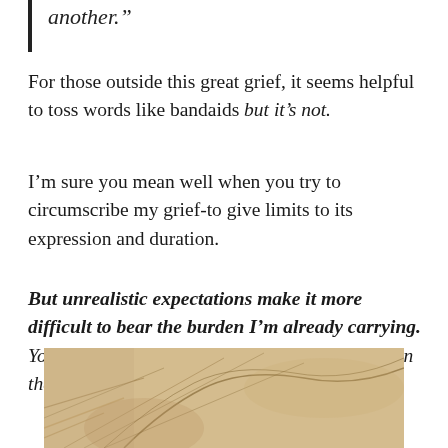another.”
For those outside this great grief, it seems helpful to toss words like bandaids but it’s not.
I’m sure you mean well when you try to circumscribe my grief‑to give limits to its expression and duration.
But unrealistic expectations make it more difficult to bear the burden I’m already carrying. Your words add to this weight of sorrow and pain that I cannot untie from my bent back.
[Figure (illustration): A partial image of what appears to be a figure bent under a burden, rendered in a sepia/tan sketched style.]